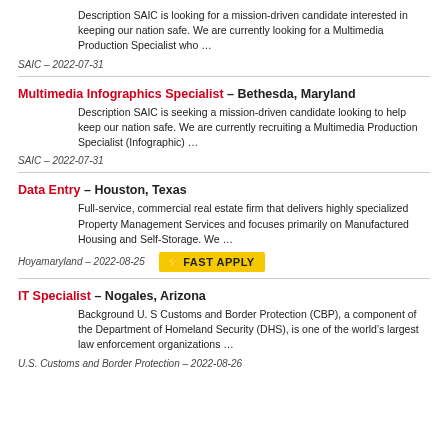Description SAIC is looking for a mission-driven candidate interested in keeping our nation safe. We are currently looking for a Multimedia Production Specialist who …
SAIC — 2022-07-31
Multimedia Infographics Specialist — Bethesda, Maryland
Description SAIC is seeking a mission-driven candidate looking to help keep our nation safe. We are currently recruiting a Multimedia Production Specialist (Infographic) …
SAIC — 2022-07-31
Data Entry — Houston, Texas
Full-service, commercial real estate firm that delivers highly specialized Property Management Services and focuses primarily on Manufactured Housing and Self-Storage. We …
Hoyamaryland — 2022-08-25
[Figure (logo): Fast Apply button - yellow/black badge with lightning bolt]
IT Specialist — Nogales, Arizona
Background U. S Customs and Border Protection (CBP), a component of the Department of Homeland Security (DHS), is one of the world's largest law enforcement organizations …
U.S. Customs and Border Protection — 2022-08-26